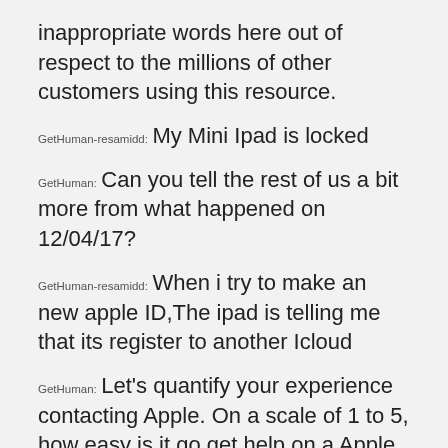inappropriate words here out of respect to the millions of other customers using this resource.
GetHuman-resamidd: My Mini Ipad is locked
GetHuman: Can you tell the rest of us a bit more from what happened on 12/04/17?
GetHuman-resamidd: When i try to make an new apple ID,The ipad is telling me that its register to another Icloud
GetHuman: Let's quantify your experience contacting Apple. On a scale of 1 to 5, how easy is it go get help on a Apple problem?
GetHuman-resamidd: I'd give them a five out of five for ease of finding your way to help.
GetHuman: What about quality of communication. How would you rate that on a 1 to 5 scale?